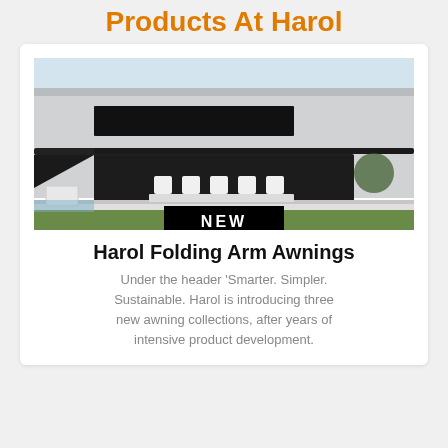Products At Harol
[Figure (photo): Modern minimalist building exterior with folding arm awning extended over outdoor dining area with white chairs, NEW badge overlay at bottom center]
Harol Folding Arm Awnings
Under the header 'Smarter. Simpler. Sustainable. Harol is introducing three new awning collections, after years of intensive product development.